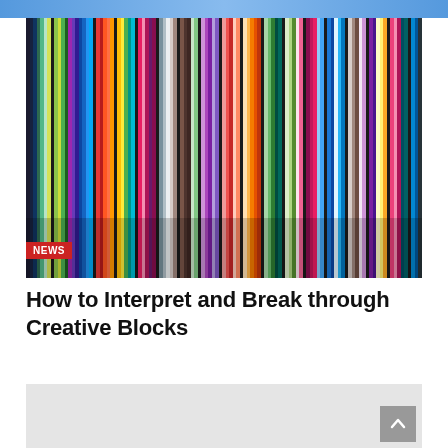[Figure (photo): Colorful vertical stripes of many colors — blue, green, yellow, orange, red, purple, pink, brown, black, white — resembling yarn or fabric or painted rods, tightly packed together.]
NEWS
How to Interpret and Break through Creative Blocks
[Figure (other): Gray placeholder/advertisement box at bottom of page with a scroll-to-top button in the bottom-right corner.]